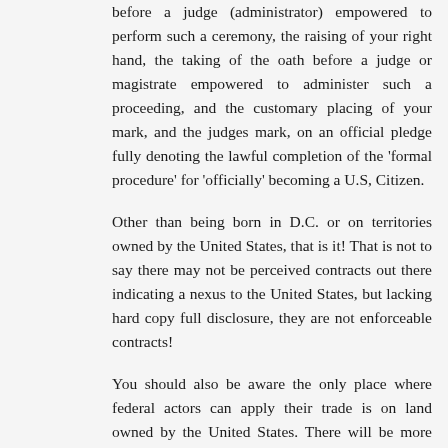before a judge (administrator) empowered to perform such a ceremony, the raising of your right hand, the taking of the oath before a judge or magistrate empowered to administer such a proceeding, and the customary placing of your mark, and the judges mark, on an official pledge fully denoting the lawful completion of the 'formal procedure' for 'officially' becoming a U.S, Citizen.
Other than being born in D.C. or on territories owned by the United States, that is it! That is not to say there may not be perceived contracts out there indicating a nexus to the United States, but lacking hard copy full disclosure, they are not enforceable contracts!
You should also be aware the only place where federal actors can apply their trade is on land owned by the United States. There will be more attention given to this topic in the near future thanks to PauljjHansen.
Once you put the ball in their court and leave it